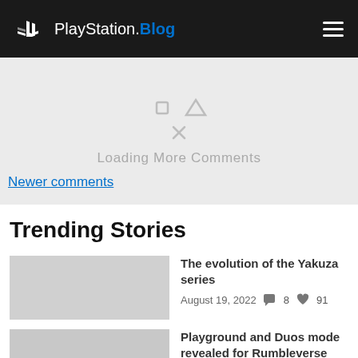PlayStation.Blog
[Figure (screenshot): Loading More Comments placeholder with PlayStation controller icon symbols (triangle, square, circle, X) in light gray, and 'Loading More Comments' text in gray]
Newer comments
Trending Stories
The evolution of the Yakuza series
August 19, 2022  8  91
Playground and Duos mode revealed for Rumbleverse launch.